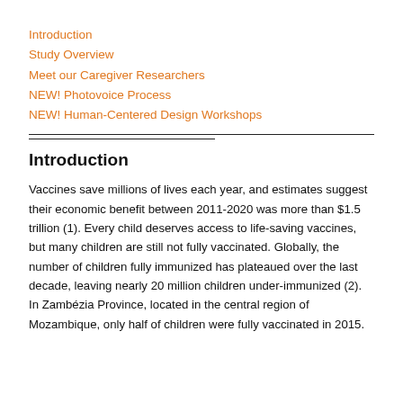Introduction
Study Overview
Meet our Caregiver Researchers
NEW! Photovoice Process
NEW! Human-Centered Design Workshops
Introduction
Vaccines save millions of lives each year, and estimates suggest their economic benefit between 2011-2020 was more than $1.5 trillion (1). Every child deserves access to life-saving vaccines, but many children are still not fully vaccinated. Globally, the number of children fully immunized has plateaued over the last decade, leaving nearly 20 million children under-immunized (2). In Zambézia Province, located in the central region of Mozambique, only half of children were fully vaccinated in 2015.